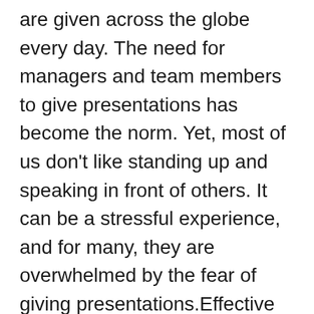are given across the globe every day. The need for managers and team members to give presentations has become the norm. Yet, most of us don't like standing up and speaking in front of others. It can be a stressful experience, and for many, they are overwhelmed by the fear of giving presentations.Effective communication skills are a valuable life skill that will help you in your further education and future careers. Here are the top reasons why effective Presentation Skills can help you on your journey to success.You will better Your Language Skills. Gain Immense Self Confidence.Will be able to communicate your messages clearly.It will help you reduce stress.You will master Your Time Management Better.Presentation Skills are Important for Business Success and Your Personal Growth.There are more resources to help you on that